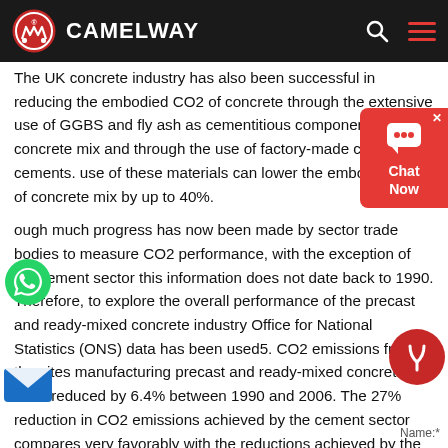CAMELWAY
The UK concrete industry has also been successful in reducing the embodied CO2 of concrete through the extensive use of GGBS and fly ash as cementitious components in the concrete mix and through the use of factory-made composite cements. use of these materials can lower the embodied CO2 of concrete mix by up to 40%.
ough much progress has now been made by sector trade bodies to measure CO2 performance, with the exception of the cement sector this information does not date back to 1990. Therefore, to explore the overall performance of the precast and ready-mixed concrete industry Office for National Statistics (ONS) data has been used5. CO2 emissions from the sites manufacturing precast and ready-mixed concrete have reduced by 6.4% between 1990 and 2006. The 27% reduction in CO2 emissions achieved by the cement sector compares very favorably with the reductions achieved by the UK economy as a whole, and by the manufacturing sector.